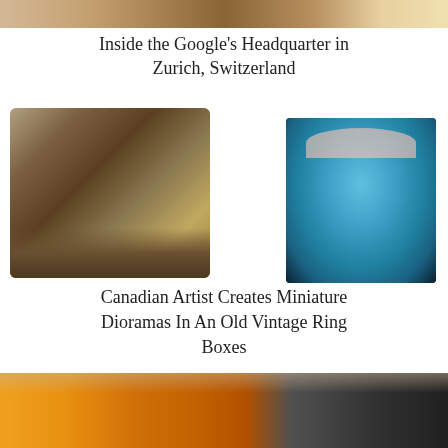[Figure (photo): Top portion of an image, cropped, showing colorful objects]
Inside the Google's Headquarter in Zurich, Switzerland
[Figure (photo): Left: A miniature diorama inside a small case held in a hand, showing a forest scene with figures. Right: A miniature scene inside a black vintage ring box with blue interior showing a figure.]
Canadian Artist Creates Miniature Dioramas In An Old Vintage Ring Boxes
[Figure (photo): Bottom portion of an image showing a colorful building exterior with orange, yellow and dark tones, partially cropped]